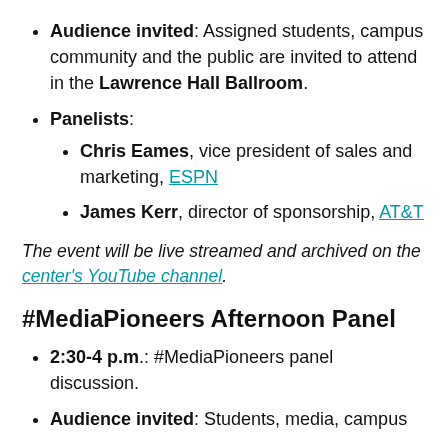Audience invited: Assigned students, campus community and the public are invited to attend in the Lawrence Hall Ballroom.
Panelists:
Chris Eames, vice president of sales and marketing, ESPN
James Kerr, director of sponsorship, AT&T
The event will be live streamed and archived on the center's YouTube channel.
#MediaPioneers Afternoon Panel
2:30-4 p.m.: #MediaPioneers panel discussion.
Audience invited: Students, media, campus